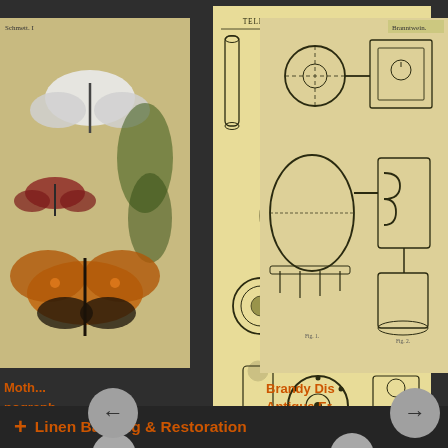[Figure (illustration): Antique engraving of butterflies and moths (partially visible, left card)]
Moth...
...nograph
[Figure (illustration): Antique engraving of telephone equipment titled 'Telephon und Telephonanlagen' (center card, fully visible)]
Telephones- Antique Engraving (c.1895)
$25.00 USD
[Figure (illustration): Antique engraving of brandy distillation equipment (right card, partially cut off)]
Brandy Dis Antique Er (c.1874)
$30.00 USD
+ Linen Backing & Restoration